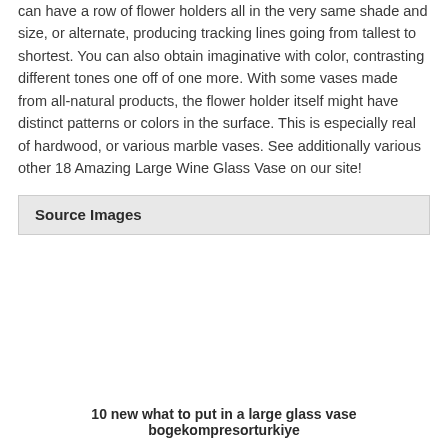can have a row of flower holders all in the very same shade and size, or alternate, producing tracking lines going from tallest to shortest. You can also obtain imaginative with color, contrasting different tones one off of one more. With some vases made from all-natural products, the flower holder itself might have distinct patterns or colors in the surface. This is especially real of hardwood, or various marble vases. See additionally various other 18 Amazing Large Wine Glass Vase on our site!
Source Images
[Figure (photo): Empty white image placeholder area below the Source Images section header]
10 new what to put in a large glass vase bogekompresorturkiye